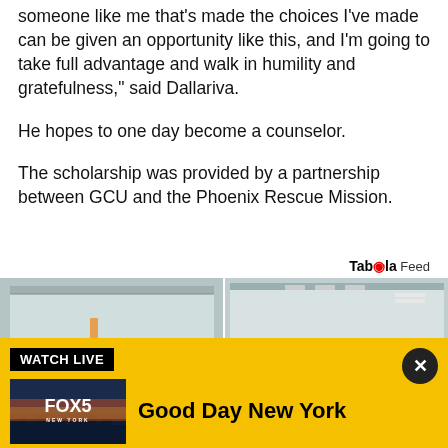someone like me that's made the choices I've made can be given an opportunity like this, and I'm going to take full advantage and walk in humility and gratefulness," said Dallariva.
He hopes to one day become a counselor.
The scholarship was provided by a partnership between GCU and the Phoenix Rescue Mission.
Tab◎la Feed
[Figure (photo): Two bathroom/shower photos side by side]
[Figure (screenshot): Watch Live banner with FOX 5 New York thumbnail and Good Day New York text on yellow background]